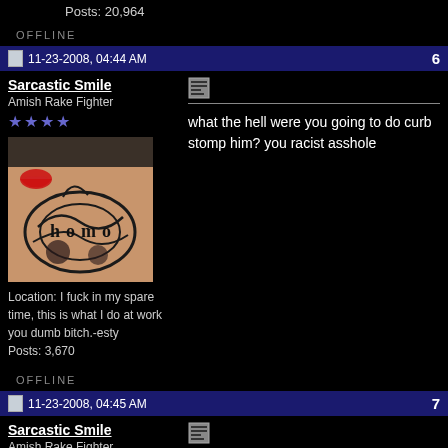Posts: 20,964
OFFLINE
11-23-2008, 04:44 AM  6
Sarcastic Smile
Amish Rake Fighter
★★★★
[Figure (photo): User avatar showing a tattoo with text and a lipstick kiss mark]
Location: I fuck in my spare time, this is what I do at work you dumb bitch.-esty
Posts: 3,670
what the hell were you going to do curb stomp him? you racist asshole
OFFLINE
11-23-2008, 04:45 AM  7
Sarcastic Smile
Amish Rake Fighter
★★★★
Quote: